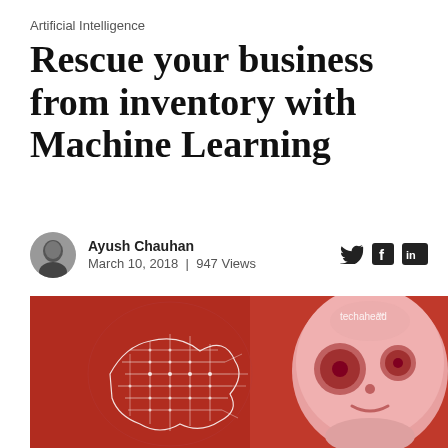Artificial Intelligence
Rescue your business from inventory with Machine Learning
Ayush Chauhan
March 10, 2018  |  947 Views
[Figure (photo): Red-tinted hero image showing a circuit-board brain illustration on the left and a pink humanoid robot face on the right, with 'techahead' watermark in top right corner.]